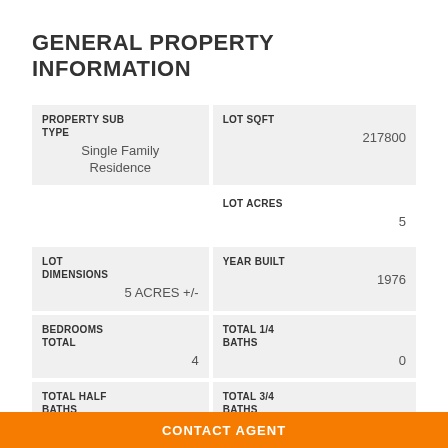GENERAL PROPERTY INFORMATION
| Field | Value |
| --- | --- |
| PROPERTY SUB TYPE | Single Family Residence |
| LOT SQFT | 217800 |
| LOT ACRES | 5 |
| LOT DIMENSIONS | 5 ACRES +/- |
| YEAR BUILT | 1976 |
| BEDROOMS TOTAL | 4 |
| TOTAL 1/4 BATHS | 0 |
| TOTAL HALF BATHS | 0 |
| TOTAL 3/4 BATHS | 2 |
CONTACT AGENT